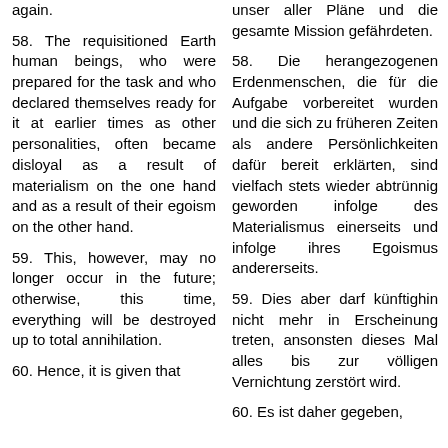again.
unser aller Pläne und die gesamte Mission gefährdeten.
58. The requisitioned Earth human beings, who were prepared for the task and who declared themselves ready for it at earlier times as other personalities, often became disloyal as a result of materialism on the one hand and as a result of their egoism on the other hand.
58. Die herangezogenen Erdenmenschen, die für die Aufgabe vorbereitet wurden und die sich zu früheren Zeiten als andere Persönlichkeiten dafür bereit erklärten, sind vielfach stets wieder abtrünnig geworden infolge des Materialismus einerseits und infolge ihres Egoismus andererseits.
59. This, however, may no longer occur in the future; otherwise, this time, everything will be destroyed up to total annihilation.
59. Dies aber darf künftighin nicht mehr in Erscheinung treten, ansonsten dieses Mal alles bis zur völligen Vernichtung zerstört wird.
60. Hence, it is given that
60. Es ist daher gegeben,